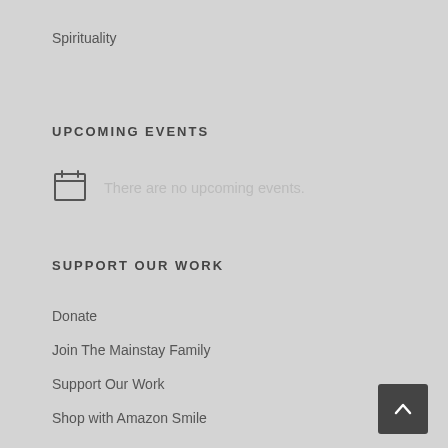Spirituality
UPCOMING EVENTS
There are no upcoming events.
SUPPORT OUR WORK
Donate
Join The Mainstay Family
Support Our Work
Shop with Amazon Smile